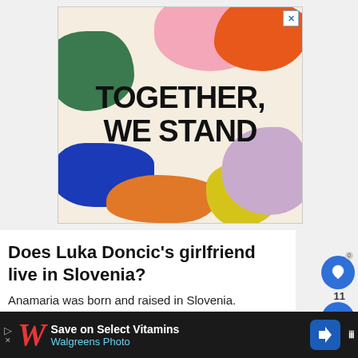[Figure (illustration): Advertisement banner with colorful blobs (pink, orange, green, blue, orange, yellow, purple) on a cream background with bold text 'TOGETHER, WE STAND' in large black serif font. Has a close X button in the top right corner.]
Does Luka Doncic's girlfriend live in Slovenia?
Anamaria was born and raised in Slovenia.
[Figure (other): Bottom advertisement banner for Walgreens Photo: 'Save on Select Vitamins / Walgreens Photo' with Walgreens W logo and blue arrow icon on dark background.]